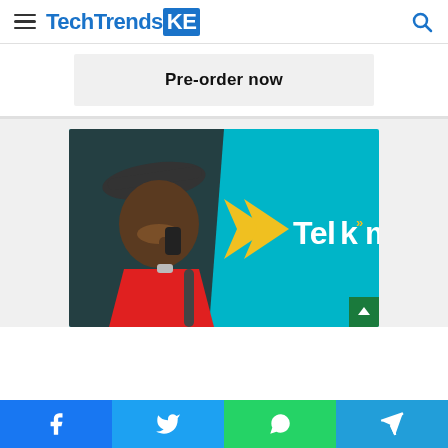TechTrendsKE
[Figure (screenshot): Pre-order now banner - light gray background with bold text]
[Figure (photo): Telkom Kenya advertisement showing a young man in red shirt and cap talking on a phone, with cyan background, yellow arrow logo and white Telkom text with yellow double-chevron]
Social share bar: Facebook, Twitter, WhatsApp, Telegram